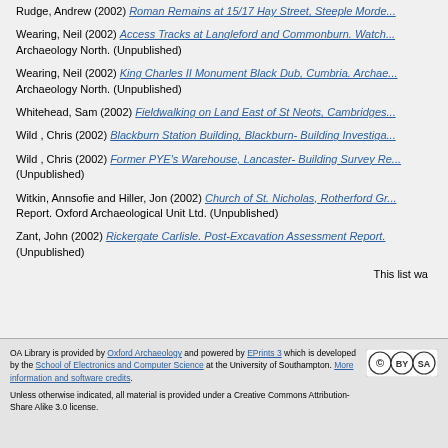Rudge, Andrew (2002) Roman Remains at 15/17 Hay Street, Steeple Morde...
Wearing, Neil (2002) Access Tracks at Langleford and Commonburn. Watch... Archaeology North. (Unpublished)
Wearing, Neil (2002) King Charles II Monument Black Dub, Cumbria. Archae... Archaeology North. (Unpublished)
Whitehead, Sam (2002) Fieldwalking on Land East of St Neots, Cambridges...
Wild , Chris (2002) Blackburn Station Building, Blackburn- Building Investiga...
Wild , Chris (2002) Former PYE's Warehouse, Lancaster- Building Survey Re... (Unpublished)
Witkin, Annsofie and Hiller, Jon (2002) Church of St. Nicholas, Rotherford Gr... Report. Oxford Archaeological Unit Ltd. (Unpublished)
Zant, John (2002) Rickergate Carlisle. Post-Excavation Assessment Report. (Unpublished)
This list wa
OA Library is provided by Oxford Archaeology and powered by EPrints 3 which is developed by the School of Electronics and Computer Science at the University of Southampton. More information and software credits.

Unless otherwise indicated, all material is provided under a Creative Commons Attribution-Share Alike 3.0 license.